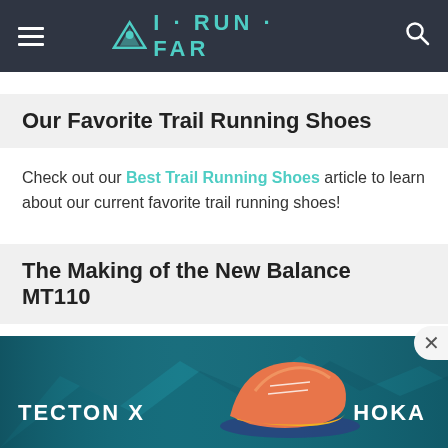I·RUN·FAR
Our Favorite Trail Running Shoes
Check out our Best Trail Running Shoes article to learn about our current favorite trail running shoes!
The Making of the New Balance MT110
[Figure (photo): HOKA TECTON X trail running shoe advertisement banner showing a coral/orange and yellow shoe against a rocky mountain background with 'TECTON X' and 'HOKA' text in white.]